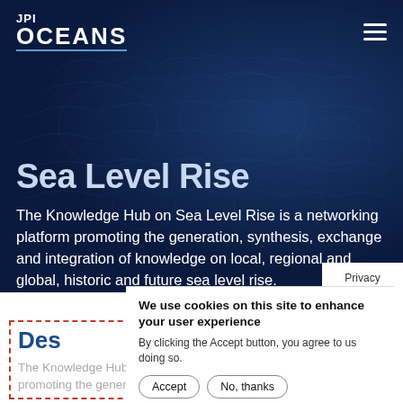[Figure (screenshot): JPI Oceans website header with dark navy blue background and world map overlay, showing navigation bar with JPI OCEANS logo on left and hamburger menu on right]
Sea Level Rise
The Knowledge Hub on Sea Level Rise is a networking platform promoting the generation, synthesis, exchange and integration of knowledge on local, regional and global, historic and future sea level rise.
Privacy settings
We use cookies on this site to enhance your user experience
By clicking the Accept button, you agree to us doing so.
Accept  No, thanks
De
The Knowledge Hub on Sea Level Rise is a networking platform promoting the generation,